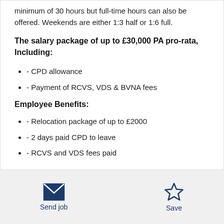minimum of 30 hours but full-time hours can also be offered. Weekends are either 1:3 half or 1:6 full.
The salary package of up to £30,000 PA pro-rata, Including:
- CPD allowance
- Payment of RCVS, VDS & BVNA fees
Employee Benefits:
- Relocation package of up to £2000
- 2 days paid CPD to leave
- RCVS and VDS fees paid
Send job  Save